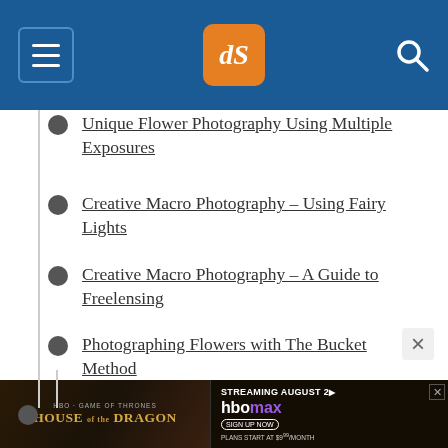dPS navigation menu with logo
Unique Flower Photography Using Multiple Exposures
Creative Macro Photography – Using Fairy Lights
Creative Macro Photography – A Guide to Freelensing
Photographing Flowers with The Bucket Method
POST-PROCESSING
How to Focus-Stack Macro Images using Photoshop
[Figure (screenshot): House of the Dragon HBO Max advertisement banner]